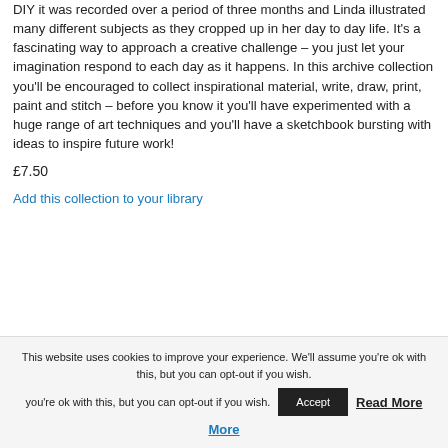DIY it was recorded over a period of three months and Linda illustrated many different subjects as they cropped up in her day to day life. It's a fascinating way to approach a creative challenge – you just let your imagination respond to each day as it happens. In this archive collection you'll be encouraged to collect inspirational material, write, draw, print, paint and stitch – before you know it you'll have experimented with a huge range of art techniques and you'll have a sketchbook bursting with ideas to inspire future work!
£7.50
Add this collection to your library
This website uses cookies to improve your experience. We'll assume you're ok with this, but you can opt-out if you wish. Accept Read More